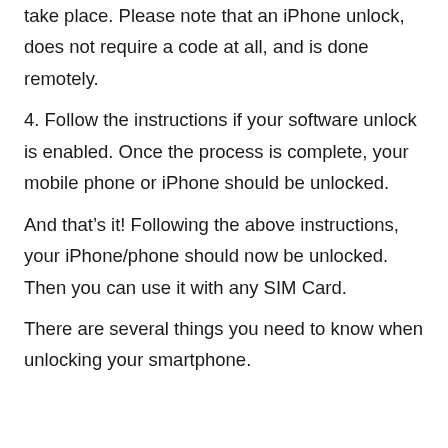take place. Please note that an iPhone unlock, does not require a code at all, and is done remotely.
4. Follow the instructions if your software unlock is enabled. Once the process is complete, your mobile phone or iPhone should be unlocked.
And that’s it! Following the above instructions, your iPhone/phone should now be unlocked. Then you can use it with any SIM Card.
There are several things you need to know when unlocking your smartphone.